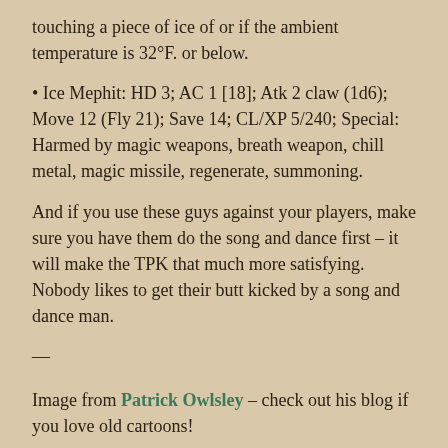touching a piece of ice of or if the ambient temperature is 32°F. or below.
• Ice Mephit: HD 3; AC 1 [18]; Atk 2 claw (1d6); Move 12 (Fly 21); Save 14; CL/XP 5/240; Special: Harmed by magic weapons, breath weapon, chill metal, magic missile, regenerate, summoning.
And if you use these guys against your players, make sure you have them do the song and dance first – it will make the TPK that much more satisfying. Nobody likes to get their butt kicked by a song and dance man.
—
Image from Patrick Owlsley – check out his blog if you love old cartoons!